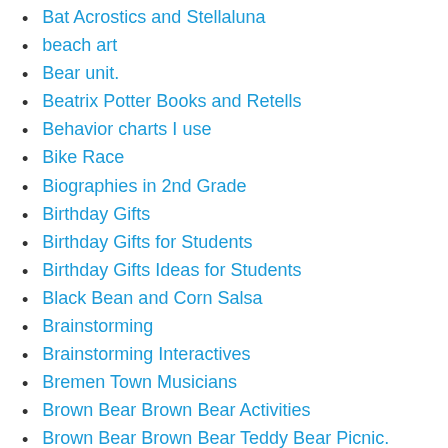Bat Acrostics and Stellaluna
beach art
Bear unit.
Beatrix Potter Books and Retells
Behavior charts I use
Bike Race
Biographies in 2nd Grade
Birthday Gifts
Birthday Gifts for Students
Birthday Gifts Ideas for Students
Black Bean and Corn Salsa
Brainstorming
Brainstorming Interactives
Bremen Town Musicians
Brown Bear Brown Bear Activities
Brown Bear Brown Bear Teddy Bear Picnic.